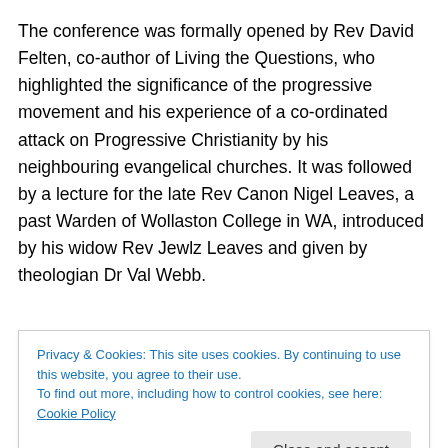The conference was formally opened by Rev David Felten, co-author of Living the Questions, who highlighted the significance of the progressive movement and his experience of a co-ordinated attack on Progressive Christianity by his neighbouring evangelical churches. It was followed by a lecture for the late Rev Canon Nigel Leaves, a past Warden of Wollaston College in WA, introduced by his widow Rev Jewlz Leaves and given by theologian Dr Val Webb.
We also heard a most engaging lecture by a Muslim
Privacy & Cookies: This site uses cookies. By continuing to use this website, you agree to their use.
To find out more, including how to control cookies, see here: Cookie Policy
spirituality led by experts were held throughout the